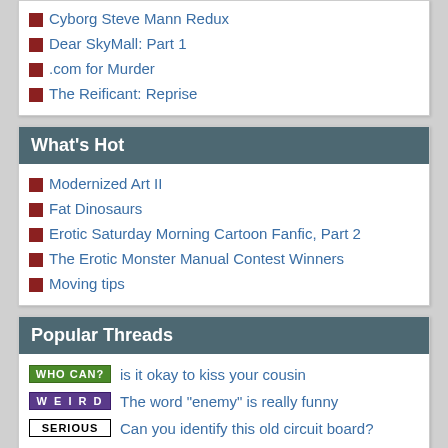Cyborg Steve Mann Redux
Dear SkyMall: Part 1
.com for Murder
The Reificant: Reprise
What's Hot
Modernized Art II
Fat Dinosaurs
Erotic Saturday Morning Cartoon Fanfic, Part 2
The Erotic Monster Manual Contest Winners
Moving tips
Popular Threads
WHO CAN? is it okay to kiss your cousin
WEIRD The word "enemy" is really funny
SERIOUS Can you identify this old circuit board?
Random Articles